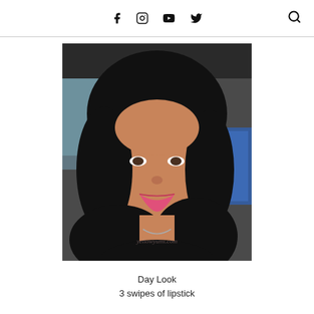Social media navigation icons: Facebook, Instagram, YouTube, Twitter, Search
[Figure (photo): Selfie of a young Asian woman with long dark hair, pink lipstick, wearing a dark top with a necklace, seated inside a car. Watermark reads yellowyumi.com.]
Day Look
3 swipes of lipstick